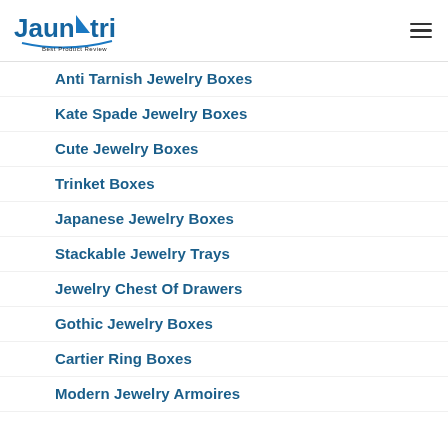Jaunatri Best Product Review
Anti Tarnish Jewelry Boxes
Kate Spade Jewelry Boxes
Cute Jewelry Boxes
Trinket Boxes
Japanese Jewelry Boxes
Stackable Jewelry Trays
Jewelry Chest Of Drawers
Gothic Jewelry Boxes
Cartier Ring Boxes
Modern Jewelry Armoires